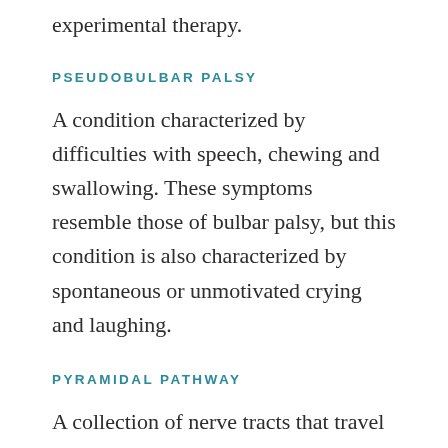experimental therapy.
PSEUDOBULBAR PALSY
A condition characterized by difficulties with speech, chewing and swallowing. These symptoms resemble those of bulbar palsy, but this condition is also characterized by spontaneous or unmotivated crying and laughing.
PYRAMIDAL PATHWAY
A collection of nerve tracts that travel from the cerebral cortex through the pyramid of the